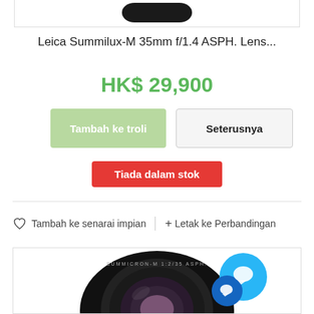[Figure (photo): Partial view of Leica lens cap/body at top of product listing]
Leica Summilux-M 35mm f/1.4 ASPH. Lens...
HK$ 29,900
Tambah ke troli
Seterusnya
Tiada dalam stok
♡ Tambah ke senarai impian
+ Letak ke Perbandingan
[Figure (photo): Leica Summicron-M lens front view, black, with chat/support icons overlay in bottom right corner]